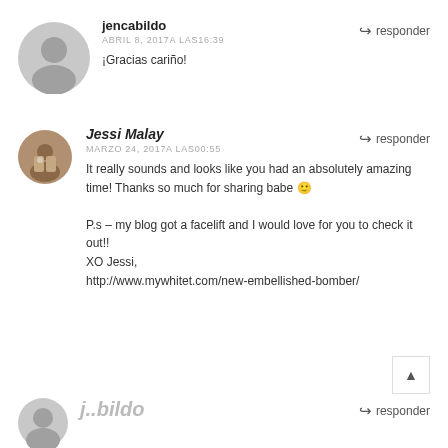[Figure (photo): Gray circular avatar placeholder for jencabildo]
jencabildo
ABRIL 8, 2017A LAS16:39
responder
¡Gracias cariño!
[Figure (photo): Profile photo of Jessi Malay]
Jessi Malay
MARZO 24, 2017A LAS00:55
responder
It really sounds and looks like you had an absolutely amazing time! Thanks so much for sharing babe 🙂

P.s – my blog got a facelift and I would love for you to check it out!!
XO Jessi,
http://www.mywhitet.com/new-embellished-bomber/
[Figure (photo): Partial gray circular avatar at bottom]
responder